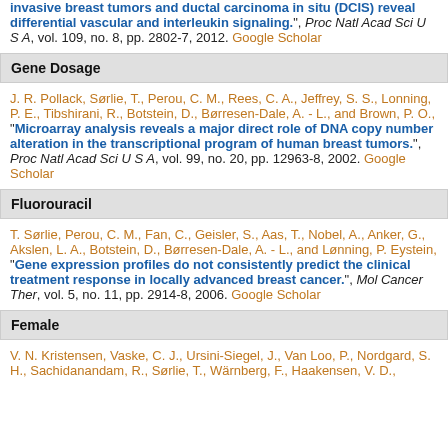invasive breast tumors and ductal carcinoma in situ (DCIS) reveal differential vascular and interleukin signaling.", Proc Natl Acad Sci U S A, vol. 109, no. 8, pp. 2802-7, 2012. Google Scholar
Gene Dosage
J. R. Pollack, Sørlie, T., Perou, C. M., Rees, C. A., Jeffrey, S. S., Lonning, P. E., Tibshirani, R., Botstein, D., Børresen-Dale, A. - L., and Brown, P. O., "Microarray analysis reveals a major direct role of DNA copy number alteration in the transcriptional program of human breast tumors.", Proc Natl Acad Sci U S A, vol. 99, no. 20, pp. 12963-8, 2002. Google Scholar
Fluorouracil
T. Sørlie, Perou, C. M., Fan, C., Geisler, S., Aas, T., Nobel, A., Anker, G., Akslen, L. A., Botstein, D., Børresen-Dale, A. - L., and Lønning, P. Eystein, "Gene expression profiles do not consistently predict the clinical treatment response in locally advanced breast cancer.", Mol Cancer Ther, vol. 5, no. 11, pp. 2914-8, 2006. Google Scholar
Female
V. N. Kristensen, Vaske, C. J., Ursini-Siegel, J., Van Loo, P., Nordgard, S. H., Sachidanandam, R., Sørlie, T., Wärnberg, F., Haakensen, V. D., ...